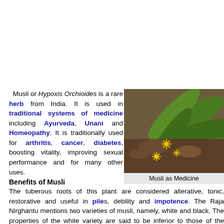Musli or Hypoxis Orchioides is a rare herb from India. It is used in traditional systems of medicine including Ayurveda, Unani and Homeopathy. It is traditionally used for arthritis, cancer, diabetes, boosting vitality, improving sexual performance and for many other uses.
[Figure (photo): Photo of Musli plant (Hypoxis Orchioides) showing yellow star-shaped flowers and broad green leaves against a rocky background.]
Musli as Medicine
Benefits of Musli
The tuberous roots of this plant are considered alterative, tonic, restorative and useful in piles, debility and impotence. The Raja Nirghantu mentions two varieties of musli, namely, white and black. The properties of the white variety are said to be inferior to those of the black which is preferred for use as an alterative tonic.
Dose of Mushali in Medicine
Musli enter into the composition of several medicines intended to act a